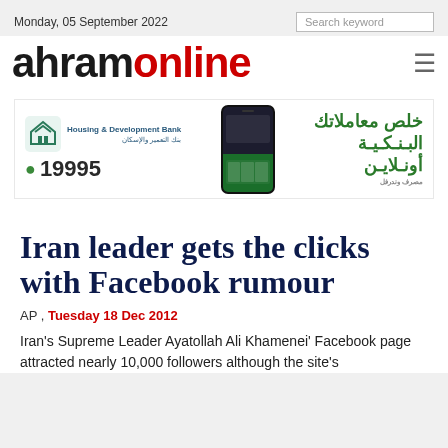Monday, 05 September 2022   Search keyword
[Figure (logo): Ahram Online logo — 'ahram' in black bold sans-serif, 'online' in red bold sans-serif, with hamburger menu icon on the right]
[Figure (photo): Advertisement banner for Housing & Development Bank (HDB) showing bank logo, phone number 19995, a smartphone image, and Arabic text meaning 'complete your banking transactions online']
Iran leader gets the clicks with Facebook rumour
AP , Tuesday 18 Dec 2012
Iran's Supreme Leader Ayatollah Ali Khamenei' Facebook page attracted nearly 10,000 followers although the site's